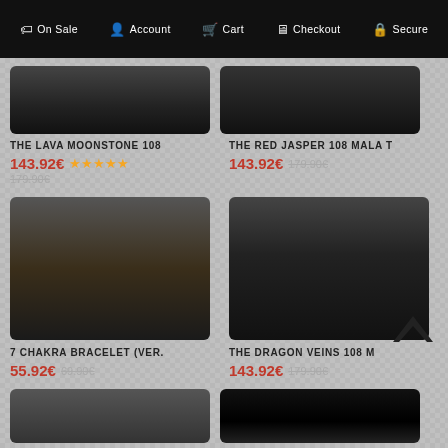On Sale  Account  Cart  Checkout  Secure
[Figure (photo): Product photo top-left: dark background with jewelry item (lava moonstone mala)]
THE LAVA MOONSTONE 108
143.92€  ★★★★★  179.90€
[Figure (photo): Product photo top-right: dark background with red jasper mala necklace on display stand]
THE RED JASPER 108 MALA T
143.92€  179.90€
[Figure (photo): Product photo mid-left: white hand mannequin with 7 chakra bracelet on dark background]
7 CHAKRA BRACELET (VER.
55.92€  69.90€
[Figure (photo): Product photo mid-right: red tassel necklace on white jewelry bust with dark background]
THE DRAGON VEINS 108 M
143.92€  179.90€
[Figure (photo): Partial product images visible at bottom of page]